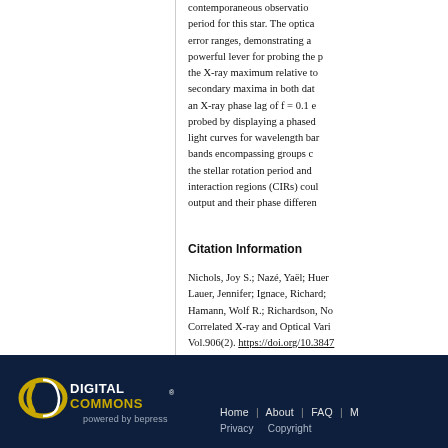contemporaneous observations and confirmed the rotation period for this star. The optical and X-ray periods agree within error ranges, demonstrating a long baseline of data serves as a powerful lever for probing the period. They also characterized the X-ray maximum relative to the optical maximum, finding secondary maxima in both datasets which are consistent with an X-ray phase lag of f = 0.1 e. The structure was further probed by displaying a phased X-ray power spectral density and light curves for wavelength bands tracing separate frequency bands encompassing groups of cycles. They demonstrated that the stellar rotation period and evidence of co-rotating interaction regions (CIRs) could be identified from the X-ray output and their phase differences.
Citation Information
Nichols, Joy S.; Nazé, Yaël; Huenemoerder, David; Lauer, Jennifer; Ignace, Richard; Massa, Derck; Hamann, Wolf R.; Richardson, Norman D. Correlated X-ray and Optical Variability... Vol.906(2). https://doi.org/10.3847/...
Digital Commons powered by bepress | Home | About | FAQ | M... | Privacy | Copyright